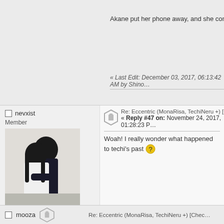Akane put her phone away, and she continued her mo…
« Last Edit: December 03, 2017, 06:13:42 AM by Shino…
Re: Eccentric (MonaRisa, TechiNeru +) [Chec…
« Reply #47 on: November 24, 2017, 01:28:23 P…
nevxist
Member
[Figure (photo): Avatar photo of two young people in school uniforms, one hugging the other from behind]
Posts: 3
Don't mind me.
Woah! I really wonder what happened to techi's past
mooza
Re: Eccentric (MonaRisa, TechiNeru +) [Chec…